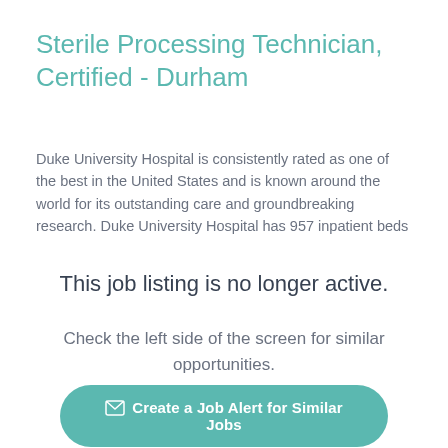Sterile Processing Technician, Certified - Durham
Duke University Hospital is consistently rated as one of the best in the United States and is known around the world for its outstanding care and groundbreaking research. Duke University Hospital has 957 inpatient beds
This job listing is no longer active.
Check the left side of the screen for similar opportunities.
Create a Job Alert for Similar Jobs